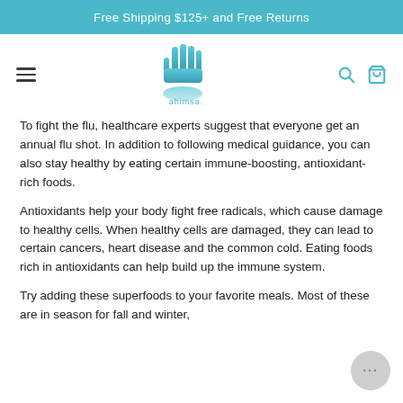Free Shipping $125+ and Free Returns
[Figure (logo): Ahimsa brand logo — a stylized hand icon with the word 'ahimsa.' below it, in teal/blue gradient colors]
To fight the flu, healthcare experts suggest that everyone get an annual flu shot. In addition to following medical guidance, you can also stay healthy by eating certain immune-boosting, antioxidant-rich foods.
Antioxidants help your body fight free radicals, which cause damage to healthy cells. When healthy cells are damaged, they can lead to certain cancers, heart disease and the common cold. Eating foods rich in antioxidants can help build up the immune system.
Try adding these superfoods to your favorite meals. Most of these are in season for fall and winter,